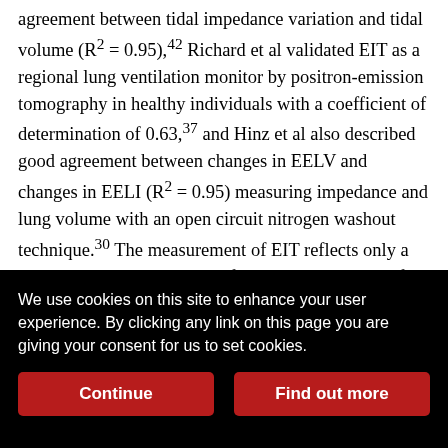agreement between tidal impedance variation and tidal volume (R² = 0.95),⁴² Richard et al validated EIT as a regional lung ventilation monitor by positron-emission tomography in healthy individuals with a coefficient of determination of 0.63,³⁷ and Hinz et al also described good agreement between changes in EELV and changes in EELI (R² = 0.95) measuring impedance and lung volume with an open circuit nitrogen washout technique.³⁰ The measurement of EIT reflects only a single cross-sectional slice of the lung, so the rest of the organ is ignored. Moreover, thorax shape can contribute as much as lung volume to thoracic impedance.²⁸ However, as the system records relative measurements and not absolute impedance distribution, the impedance changes are related to lung volume changes, as chest wall impedance remains relatively constant. Therefore, a reference is
We use cookies on this site to enhance your user experience. By clicking any link on this page you are giving your consent for us to set cookies.